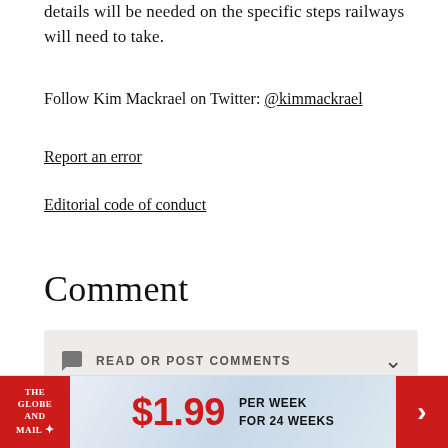details will be needed on the specific steps railways will need to take.
Follow Kim Mackrael on Twitter: @kimmackrael
Report an error
Editorial code of conduct
Comment
READ OR POST COMMENTS
[Figure (other): Advertisement banner for The Globe and Mail: $1.99 per week for 24 weeks]